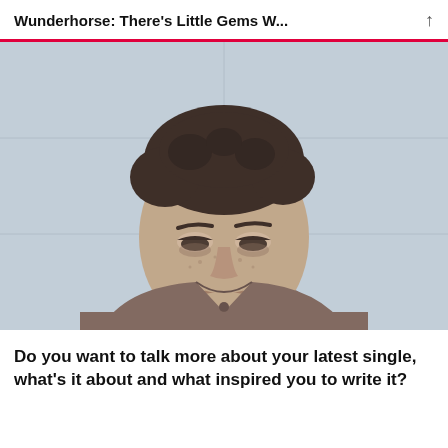Wunderhorse: There's Little Gems W...
[Figure (photo): Black and white photo of a young man with curly dark hair, wearing a button-up shirt, looking downward with a contemplative expression. Light blue/grey tiled wall in background.]
Do you want to talk more about your latest single, what's it about and what inspired you to write it?